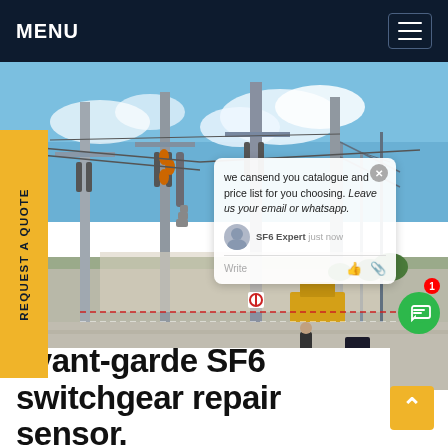MENU
[Figure (photo): Outdoor high-voltage SF6 switchgear substation with tall metal poles, insulators, and electrical equipment under blue sky with clouds.]
REQUEST A QUOTE
we cansend you catalogue and price list for you choosing. Leave us your email or whatsapp.
SF6 Expert  just now
Write
avant-garde SF6 switchgear repair sensor.